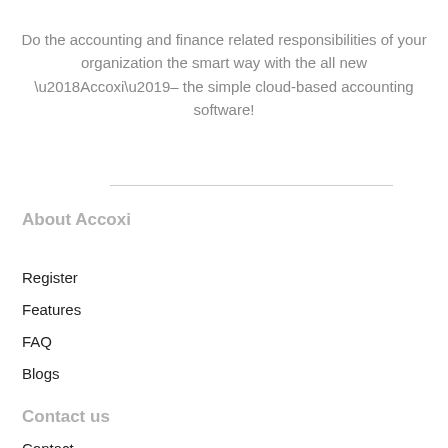Do the accounting and finance related responsibilities of your organization the smart way with the all new ‘Accoxi’– the simple cloud-based accounting software!
About Accoxi
Register
Features
FAQ
Blogs
Contact us
Contact